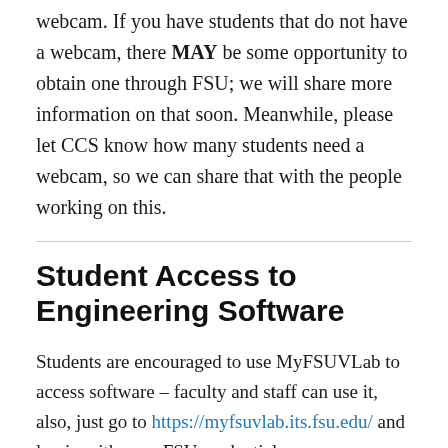webcam. If you have students that do not have a webcam, there MAY be some opportunity to obtain one through FSU; we will share more information on that soon. Meanwhile, please let CCS know how many students need a webcam, so we can share that with the people working on this.
Student Access to Engineering Software
Students are encouraged to use MyFSUVLab to access software – faculty and staff can use it, also, just go to https://myfsuvlab.its.fsu.edu/ and log in with your FSU credentials.